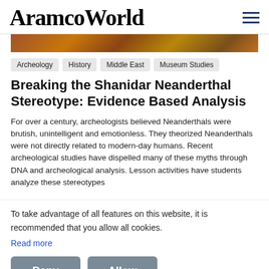AramcoWorld
[Figure (photo): Partial view of a nature/landscape image in warm brown and orange tones, cropped at top]
Archeology
History
Middle East
Museum Studies
Breaking the Shanidar Neanderthal Stereotype: Evidence Based Analysis
For over a century, archeologists believed Neanderthals were brutish, unintelligent and emotionless. They theorized Neanderthals were not directly related to modern-day humans. Recent archeological studies have dispelled many of these myths through DNA and archeological analysis. Lesson activities have students analyze these stereotypes
To take advantage of all features on this website, it is recommended that you allow all cookies.
Read more
Deny
Allow